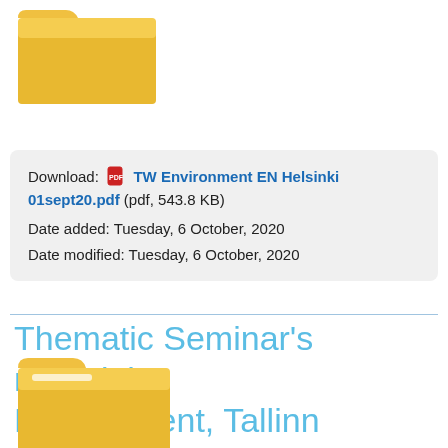[Figure (illustration): Yellow folder icon, open style, top portion of page]
Download: TW Environment EN Helsinki 01sept20.pdf (pdf, 543.8 KB)
Date added: Tuesday, 6 October, 2020
Date modified: Tuesday, 6 October, 2020
Thematic Seminar's material - Environment, Tallinn
[Figure (illustration): Yellow folder icon, open style, bottom portion of page]